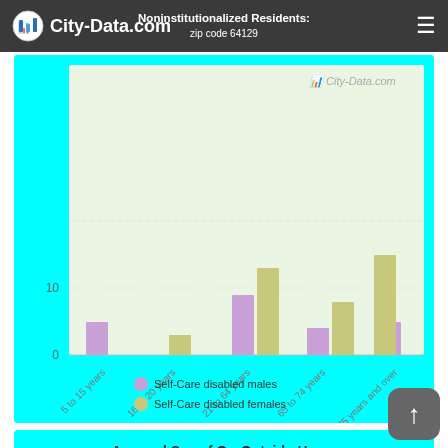City-Data.com
[Figure (grouped-bar-chart): Age and Sex of Self-Care Disabled Noninstitutionalized Residents — zip code 64129]
Age and Sex of Go-Outside-Home Disabled Noninstitutionalized